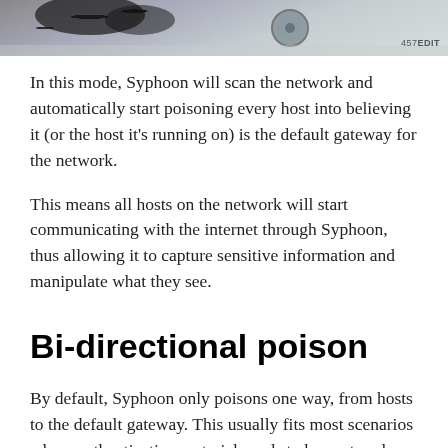[Figure (photo): Partial photo strip showing what appears to be an animal (possibly a cow) and some mechanical/circular object, with edit label '457EDIT' at bottom right]
In this mode, Syphoon will scan the network and automatically start poisoning every host into believing it (or the host it's running on) is the default gateway for the network.
This means all hosts on the network will start communicating with the internet through Syphoon, thus allowing it to capture sensitive information and manipulate what they see.
Bi-directional poison
By default, Syphoon only poisons one way, from hosts to the default gateway. This usually fits most scenarios where authentication material needs to be captured. However when both